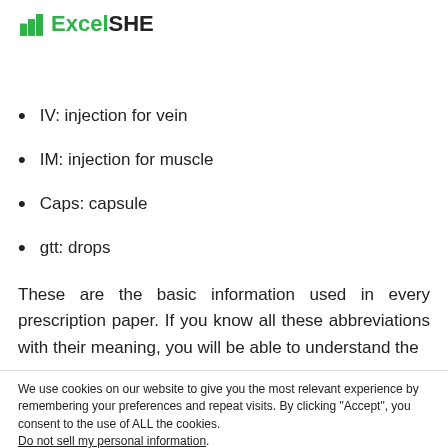ExcelSHE
IV: injection for vein
IM: injection for muscle
Caps: capsule
gtt: drops
These are the basic information used in every prescription paper. If you know all these abbreviations with their meaning, you will be able to understand the
We use cookies on our website to give you the most relevant experience by remembering your preferences and repeat visits. By clicking “Accept”, you consent to the use of ALL the cookies.
Do not sell my personal information.